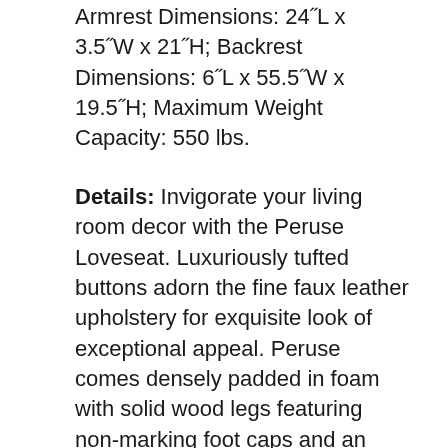Armrest Dimensions: 24˝L x 3.5˝W x 21˝H; Backrest Dimensions: 6˝L x 55.5˝W x 19.5˝H; Maximum Weight Capacity: 550 lbs.
Details: Invigorate your living room decor with the Peruse Loveseat. Luxuriously tufted buttons adorn the fine faux leather upholstery for exquisite look of exceptional appeal. Peruse comes densely padded in foam with solid wood legs featuring non-marking foot caps and an elegant antique nailhead detail. Peruse is a quality purchase perfect for the chic modern home or apartment.
UPC: 889654096054